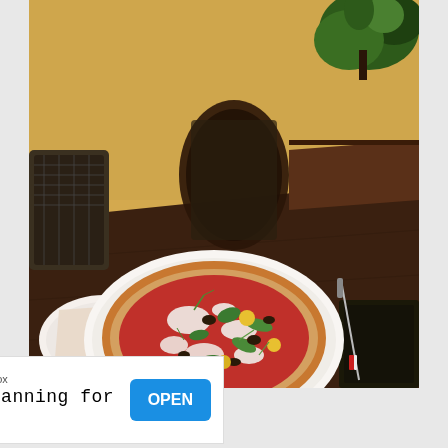[Figure (photo): A Neapolitan-style pizza with red tomato sauce, mozzarella, green peppers, olives, yellow cherry tomatoes, and herbs, served on a white plate on a dark wooden restaurant table. A fork and knife are on the table beside the plate. Additional place setting with a napkin is visible in the background. Dark bistro chairs and a yellow wall with plants are in the background.]
[Figure (other): Advertisement banner: 'Traveling Mailbox - Mail Scanning for RVers' with an OPEN button in blue.]